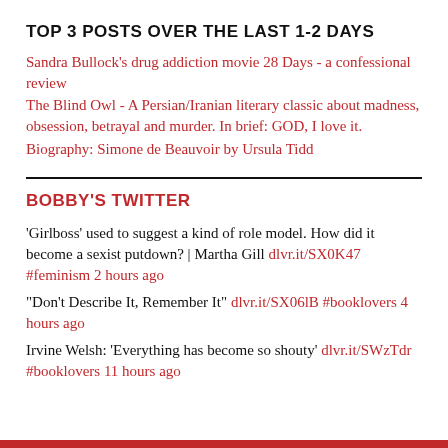TOP 3 POSTS OVER THE LAST 1-2 DAYS
Sandra Bullock's drug addiction movie 28 Days - a confessional review
The Blind Owl - A Persian/Iranian literary classic about madness, obsession, betrayal and murder. In brief: GOD, I love it.
Biography: Simone de Beauvoir by Ursula Tidd
BOBBY'S TWITTER
'Girlboss' used to suggest a kind of role model. How did it become a sexist putdown? | Martha Gill dlvr.it/SX0K47 #feminism 2 hours ago
“Don’t Describe It, Remember It” dlvr.it/SX06lB #booklovers 4 hours ago
Irvine Welsh: ‘Everything has become so shouty’ dlvr.it/SWzTdr #booklovers 11 hours ago